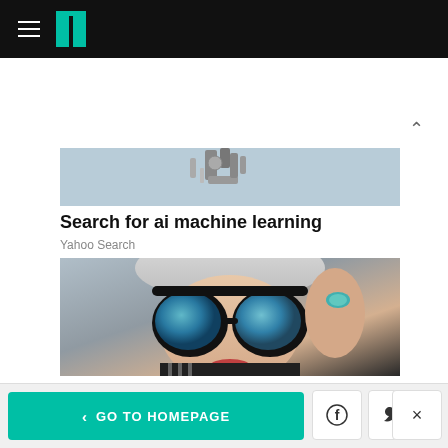HuffPost navigation bar with hamburger menu and logo
[Figure (photo): Partial view of a robot arm or mechanical device against a light blue-grey background]
Search for ai machine learning
Yahoo Search
[Figure (photo): Close-up portrait of an elderly woman with white/grey hair wearing large round black-framed sunglasses with blue mirrored lenses, touching the glasses with her right hand which has red nails and a turquoise ring]
< GO TO HOMEPAGE
GO TO HOMEPAGE | Facebook share | Twitter share | Close